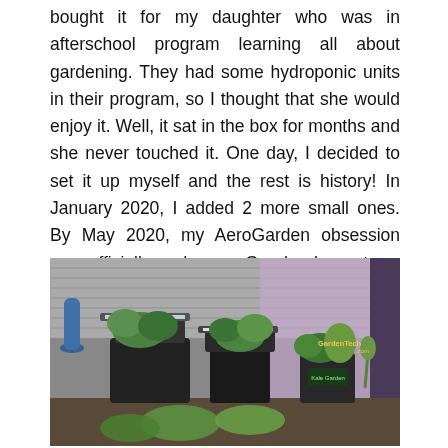bought it for my daughter who was in afterschool program learning all about gardening. They had some hydroponic units in their program, so I thought that she would enjoy it. Well, it sat in the box for months and she never touched it. One day, I decided to set it up myself and the rest is history! In January 2020, I added 2 more small ones. By May 2020, my AeroGarden obsession was officially underway. Good sales get me in trouble! But, I love having fresh veggies in the house all year round. Another post on that is coming up soon. Meanwhile, you can check out my latest YouTube video for more.
[Figure (photo): Indoor hydroponic garden setup showing multiple AeroGarden units with green plants growing under LED lights on a table or counter, with purple/pink grow lights visible in the background.]